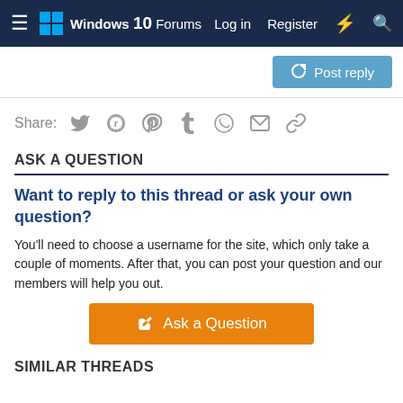Windows 10 Forums — Log in  Register
Post reply
Share:
ASK A QUESTION
Want to reply to this thread or ask your own question?
You'll need to choose a username for the site, which only take a couple of moments. After that, you can post your question and our members will help you out.
Ask a Question
SIMILAR THREADS